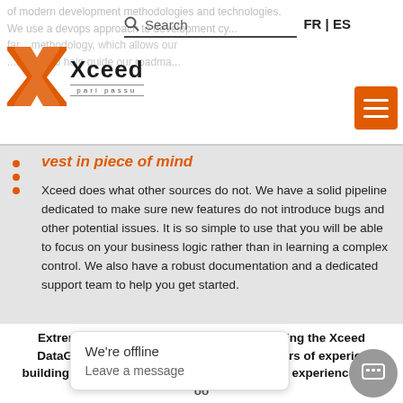of modern development methodologies and technologies. We use a devops approach to development cy... partially visible Xceed header with logo, search, language selector FR | ES, and hamburger menu
invest in piece of mind
Xceed does what other sources do not. We have a solid pipeline dedicated to make sure new features do not introduce bugs and other potential issues. It is so simple to use that you will be able to focus on your business logic rather than in learning a complex control. We also have a robust documentation and a dedicated support team to help you get started.
Extreme attention to details went into building the Xceed DataGrid for JavaScript. With almost 20 years of experience building data grids under our belt, we took that experience to build the best possible data grid available...
We're offline
Leave a message